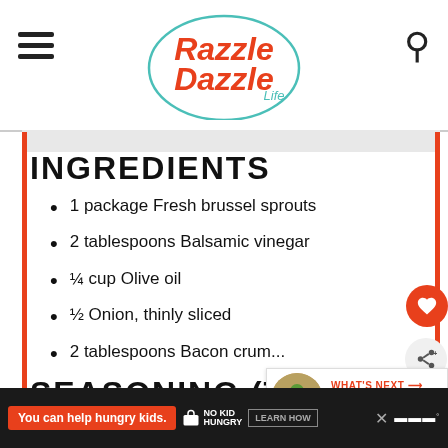Razzle Dazzle Life
INGREDIENTS
1 package Fresh brussel sprouts
2 tablespoons Balsamic vinegar
¼ cup Olive oil
½ Onion, thinly sliced
2 tablespoons Bacon crum...
SEASONING (TO
WHAT'S NEXT → Kale Salad with...
You can help hungry kids. NO KID HUNGRY LEARN HOW